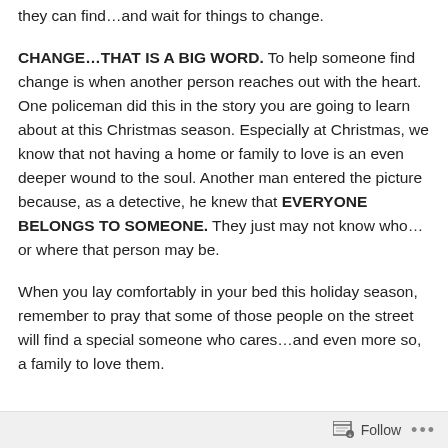they can find…and wait for things to change.
CHANGE…THAT IS A BIG WORD. To help someone find change is when another person reaches out with the heart. One policeman did this in the story you are going to learn about at this Christmas season. Especially at Christmas, we know that not having a home or family to love is an even deeper wound to the soul. Another man entered the picture because, as a detective, he knew that EVERYONE BELONGS TO SOMEONE. They just may not know who…or where that person may be.
When you lay comfortably in your bed this holiday season, remember to pray that some of those people on the street will find a special someone who cares…and even more so, a family to love them.
Follow